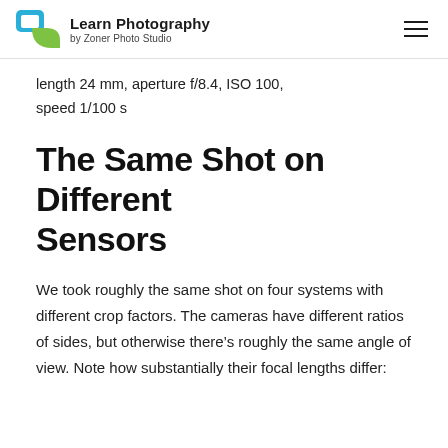Learn Photography by Zoner Photo Studio
length 24 mm, aperture f/8.4, ISO 100, speed 1/100 s
The Same Shot on Different Sensors
We took roughly the same shot on four systems with different crop factors. The cameras have different ratios of sides, but otherwise there's roughly the same angle of view. Note how substantially their focal lengths differ: